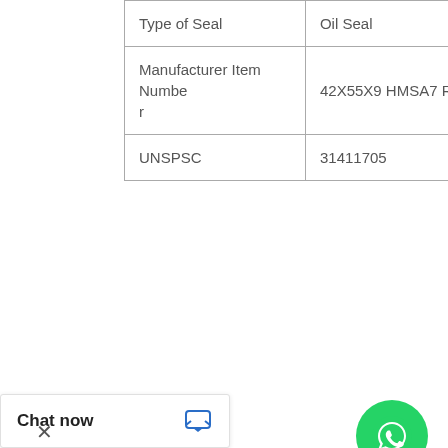| Type of Seal | Oil Seal |
| --- | --- |
| Type of Seal | Oil Seal |
| Manufacturer Item Number | 42X55X9 HMSA7 R |
| UNSPSC | 31411705 |
| MSB MSB200 Seal Kits for MSB hydraulic breaker | Lip Material:Nitrile; Type of Seal:Oil Seal; Keyword String:Lip; Spring Loaded:No; Long Description:48MM Shaft Dia; 58MM; Manufacturer Name:SKF; Solid or Split Seal:Solid; Inch - Metric:Metric; Shaft Diameter:1.89 Inch / 48 Milli; Lip Retainer:None; Housing Bore:2.283 Inch / ...gory:Oil Se ...or:1.278 Inch / 35 |
[Figure (other): WhatsApp Online chat button overlay with green WhatsApp icon and italic text 'WhatsApp Online']
Chat now